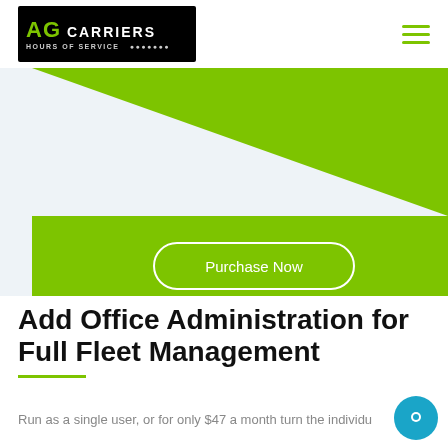AG Carriers Hours of Service
[Figure (illustration): Green diagonal triangle banner with Purchase Now button on green background]
Add Office Administration for Full Fleet Management
Run as a single user, or for only $47 a month turn the individual